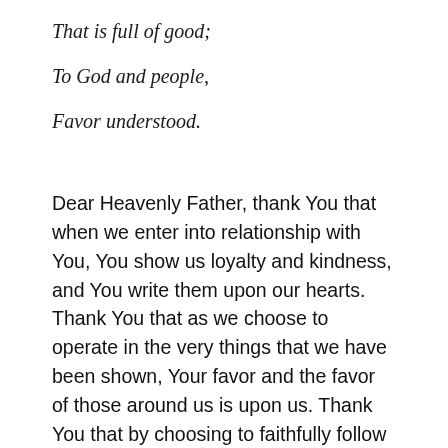That is full of good;
To God and people,
Favor understood.
Dear Heavenly Father, thank You that when we enter into relationship with You, You show us loyalty and kindness, and You write them upon our hearts. Thank You that as we choose to operate in the very things that we have been shown, Your favor and the favor of those around us is upon us. Thank You that by choosing to faithfully follow You, we will earn a good reputation. Forgive us for our lack of